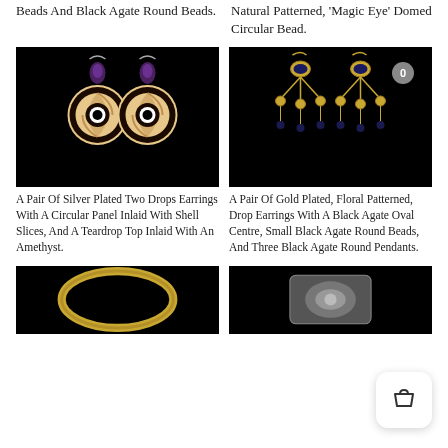Beads And Black Agate Round Beads.
Natural Patterned, 'Magic Eye' Domed Circular Bead.
[Figure (photo): A pair of silver plated drop earrings with circular shell-inlaid panels and amethyst teardrop tops on black background]
A Pair Of Silver Plated Two Drops Earrings With A Circular Panel Inlaid With Shell Slices, And A Teardrop Top Inlaid With An Amethyst.
[Figure (photo): A pair of gold plated floral patterned drop earrings with black agate oval centre, small black agate round beads, and three black agate round pendants on black background]
A Pair Of Gold Plated, Floral Patterned, Drop Earrings With A Black Agate Oval Centre, Small Black Agate Round Beads, And Three Black Agate Round Pendants.
[Figure (photo): A gold ring on black background]
[Figure (photo): A decorative jewelry item on black background]